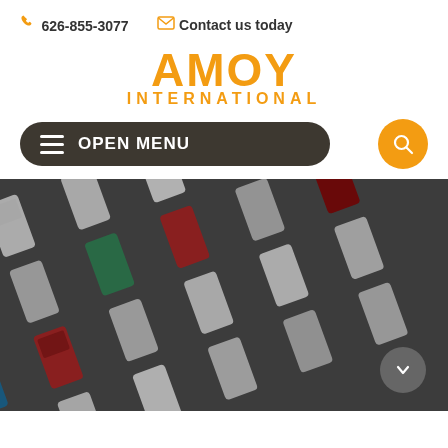📞 626-855-3077   ✉ Contact us today
AMOY INTERNATIONAL
≡ OPEN MENU
[Figure (photo): Aerial view of a large parking lot filled with many cars arranged in diagonal rows, various colors including white, silver, red, blue, and teal, shot from above.]